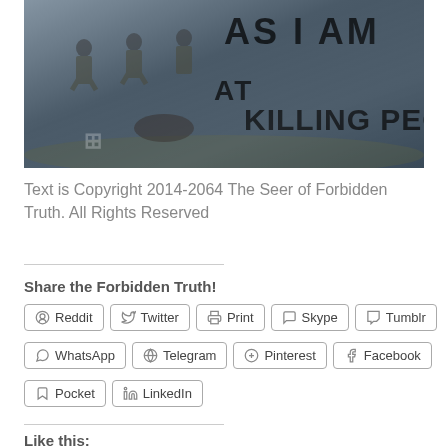[Figure (photo): Military soldiers walking in a combat zone with graffiti text overlay reading 'AS I AM AT KILLING PEOPLE']
Text is Copyright 2014-2064 The Seer of Forbidden Truth. All Rights Reserved
Share the Forbidden Truth!
Reddit  Twitter  Print  Skype  Tumblr  WhatsApp  Telegram  Pinterest  Facebook  Pocket  LinkedIn
Like this: